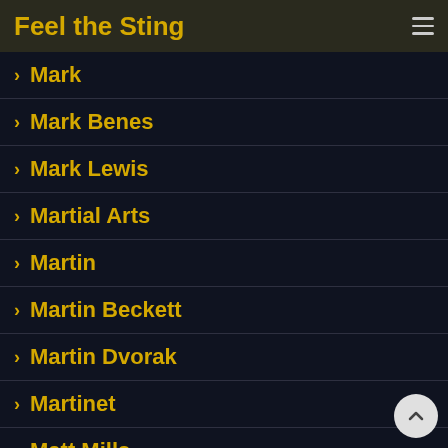Feel the Sting
Mark
Mark Benes
Mark Lewis
Martial Arts
Martin
Martin Beckett
Martin Dvorak
Martinet
Matt Mills
Matt Steel
Max Duggan